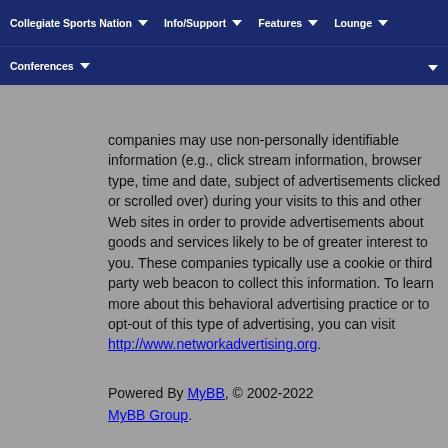Collegiate Sports Nation | Info/Support | Features | Lounge | Conferences
We allow third-party companies to serve ads and/or collect certain anonymous information when you visit our site. These companies may use non-personally identifiable information (e.g., click stream information, browser type, time and date, subject of advertisements clicked or scrolled over) during your visits to this and other Web sites in order to provide advertisements about goods and services likely to be of greater interest to you. These companies typically use a cookie or third party web beacon to collect this information. To learn more about this behavioral advertising practice or to opt-out of this type of advertising, you can visit http://www.networkadvertising.org.
Powered By MyBB, © 2002-2022 MyBB Group.